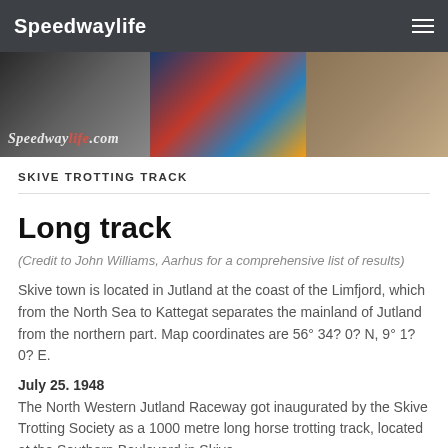Speedwaylife
[Figure (photo): Speedwaylife.com banner with three motorcycle racing photos: vintage grayscale rider on left, colorful modern speedway riders in center, vintage sidecar racers on right. Watermark reads Speedwaylife.com]
SKIVE TROTTING TRACK
Long track
(Credit to John Williams, Aarhus for a comprehensive list of results)
Skive town is located in Jutland at the coast of the Limfjord, which from the North Sea to Kattegat separates the mainland of Jutland from the northern part. Map coordinates are 56° 34? 0? N, 9° 1? 0? E.
July 25. 1948
The North Western Jutland Raceway got inaugurated by the Skive Trotting Society as a 1000 metre long horse trotting track, located at the Southern Boulevard in Skive.